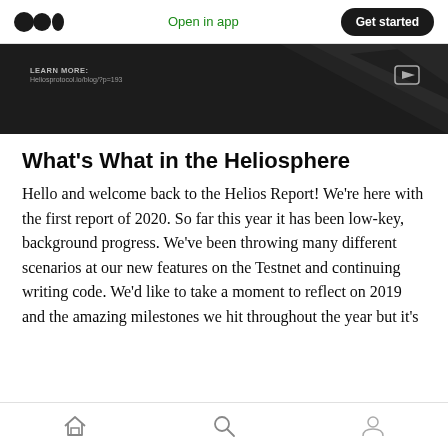Open in app  Get started
[Figure (screenshot): Dark background hero image with text 'LEARN MORE' and 'Heliosprotocol.io/blog/?p=193', decorative triangles, and a play button icon in the upper right.]
What’s What in the Heliosphere
Hello and welcome back to the Helios Report! We’re here with the first report of 2020. So far this year it has been low-key, background progress. We’ve been throwing many different scenarios at our new features on the Testnet and continuing writing code. We’d like to take a moment to reflect on 2019 and the amazing milestones we hit throughout the year but it’s
Home  Search  Profile